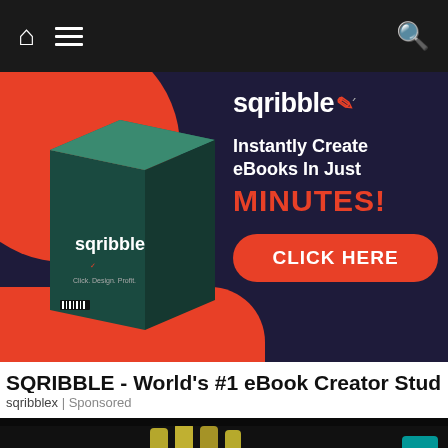Navigation bar with home icon, hamburger menu, and search icon
[Figure (screenshot): Sqribble advertisement banner: dark navy/purple background with red circle accent and red bottom section. Left side shows a dark green 3D software box with 'sqribble' branding and text 'Click. Design. Profit'. Right side shows sqribble logo with pen icon, text 'Instantly Create eBooks In Just MINUTES!' and an orange-red 'CLICK HERE' button.]
SQRIBBLE - World's #1 eBook Creator Studio
sqribblex | Sponsored
[Figure (photo): Dark photo showing food (possibly leeks or vegetables) cooking in a dark pan on a gas stove with blue flame visible]